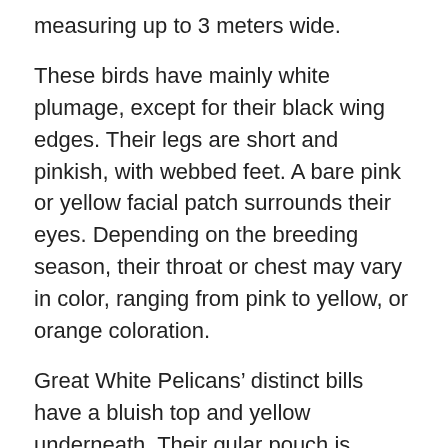measuring up to 3 meters wide.
These birds have mainly white plumage, except for their black wing edges. Their legs are short and pinkish, with webbed feet. A bare pink or yellow facial patch surrounds their eyes. Depending on the breeding season, their throat or chest may vary in color, ranging from pink to yellow, or orange coloration.
Great White Pelicans’ distinct bills have a bluish top and yellow underneath. Their gular pouch is located at the bottom of their beak, which has a red band at the center and ends with a little red hook.
Their long bills are not a show-off, as they utilized them to scoop fish from the water. It is stretchy that it can hold up a few liters of water. Their bills how